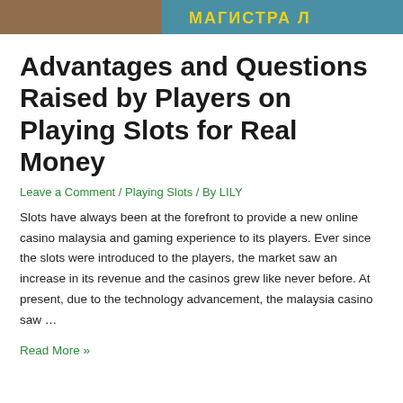[Figure (photo): Banner image showing a casino/slots related scene with Cyrillic text that reads МАГИСТРА Л]
Advantages and Questions Raised by Players on Playing Slots for Real Money
Leave a Comment / Playing Slots / By LILY
Slots have always been at the forefront to provide a new online casino malaysia and gaming experience to its players. Ever since the slots were introduced to the players, the market saw an increase in its revenue and the casinos grew like never before. At present, due to the technology advancement, the malaysia casino saw …
Read More »